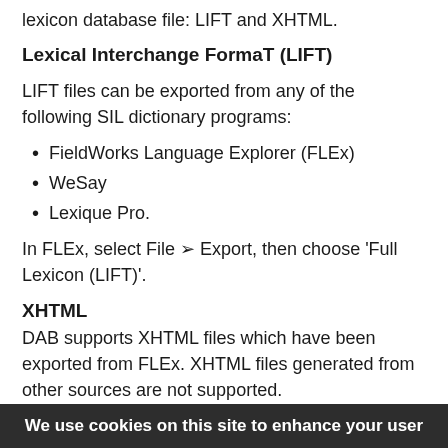lexicon database file: LIFT and XHTML.
Lexical Interchange FormaT (LIFT)
LIFT files can be exported from any of the following SIL dictionary programs:
FieldWorks Language Explorer (FLEx)
WeSay
Lexique Pro.
In FLEx, select File ➢ Export, then choose 'Full Lexicon (LIFT)'.
XHTML
DAB supports XHTML files which have been exported from FLEx. XHTML files generated from other sources are not supported.
In FLEx, select File ➢ Export, then choose 'Configured Dictionary (XHTML)'. You will also need to export a
We use cookies on this site to enhance your user